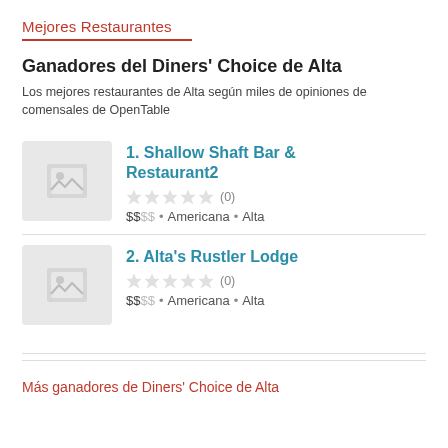Mejores Restaurantes
Ganadores del Diners' Choice de Alta
Los mejores restaurantes de Alta según miles de opiniones de comensales de OpenTable
1. Shallow Shaft Bar & Restaurant2 | (0) | $$SS • Americana • Alta
2. Alta's Rustler Lodge | (0) | $$SS • Americana • Alta
Más ganadores de Diners' Choice de Alta